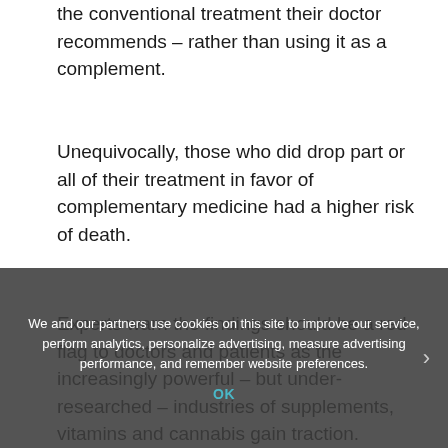the conventional treatment their doctor recommends – rather than using it as a complement.
Unequivocally, those who did drop part or all of their treatment in favor of complementary medicine had a higher risk of death.
Experts warn the findings should be a red flag to doctors and patients as the increasingly powerful – but under-researched – industries of supplements, vitamins and cannabis gain traction.
[Figure (photo): Partial photo of a person, cropped, with dark background visible at bottom of page]
We and our partners use cookies on this site to improve our service, perform analytics, personalize advertising, measure advertising performance, and remember website preferences.
OK